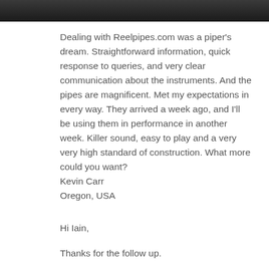[Figure (photo): Partial photograph of bagpipes or a piper, dark tones, cropped at top of page]
Dealing with Reelpipes.com was a piper's dream. Straightforward information, quick response to queries, and very clear communication about the instruments. And the pipes are magnificent. Met my expectations in every way. They arrived a week ago, and I'll be using them in performance in another week. Killer sound, easy to play and a very very high standard of construction. What more could you want?
Kevin Carr
Oregon, USA
Hi Iain,
Thanks for the follow up.